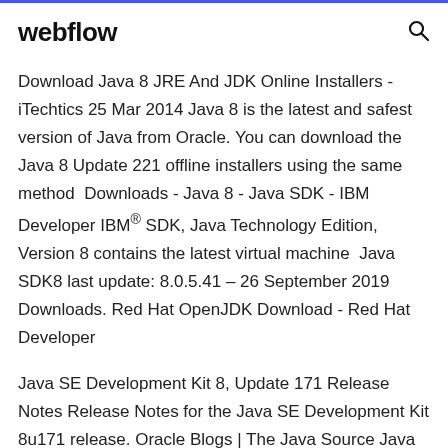webflow
Download Java 8 JRE And JDK Online Installers - iTechtics 25 Mar 2014 Java 8 is the latest and safest version of Java from Oracle. You can download the Java 8 Update 221 offline installers using the same method  Downloads - Java 8 - Java SDK - IBM Developer IBM® SDK, Java Technology Edition, Version 8 contains the latest virtual machine  Java SDK8 last update: 8.0.5.41 – 26 September 2019 Downloads. Red Hat OpenJDK Download - Red Hat Developer
Java SE Development Kit 8, Update 171 Release Notes Release Notes for the Java SE Development Kit 8u171 release. Oracle Blogs | The Java Source Java SE 11 is the first Long